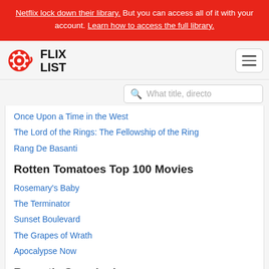Netflix lock down their library. But you can access all of it with your account. Learn how to access the full library.
[Figure (logo): FlixList logo with film reel icon and bold FLIX LIST text]
Once Upon a Time in the West
The Lord of the Rings: The Fellowship of the Ring
Rang De Basanti
Rotten Tomatoes Top 100 Movies
Rosemary's Baby
The Terminator
Sunset Boulevard
The Grapes of Wrath
Apocalypse Now
Recently Searched